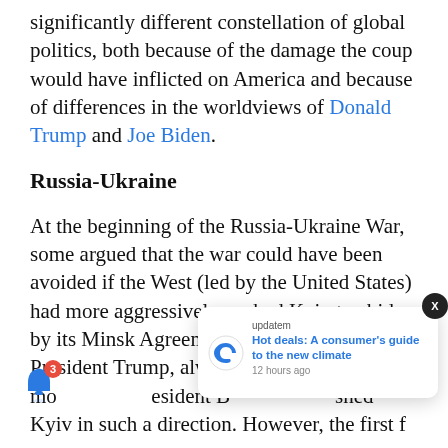significantly different constellation of global politics, both because of the damage the coup would have inflicted on America and because of differences in the worldviews of Donald Trump and Joe Biden.
Russia-Ukraine
At the beginning of the Russia-Ukraine War, some argued that the war could have been avoided if the West (led by the United States) had more aggressively pushed Kyiv to abide by its Minsk Agreement commitments. President Trump, always seen as mo... President B... shed Kyiv in such a direction. However, the first f...